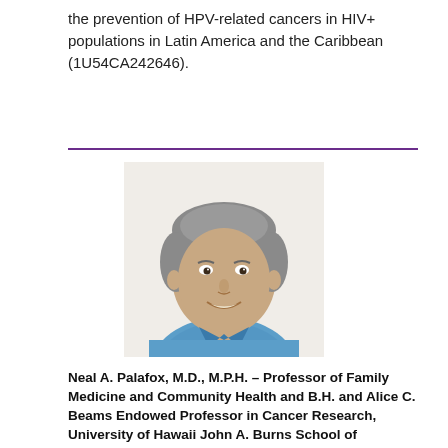the prevention of HPV-related cancers in HIV+ populations in Latin America and the Caribbean (1U54CA242646).
[Figure (photo): Headshot of Neal A. Palafox, a middle-aged man with gray hair, smiling, wearing a blue patterned Hawaiian-style shirt]
Neal A. Palafox, M.D., M.P.H. – Professor of Family Medicine and Community Health and B.H. and Alice C. Beams Endowed Professor in Cancer Research, University of Hawaii John A. Burns School of Medicine, and Adjunct Professor of Cancer Prevention and Control, University of Hawaii Cancer Center